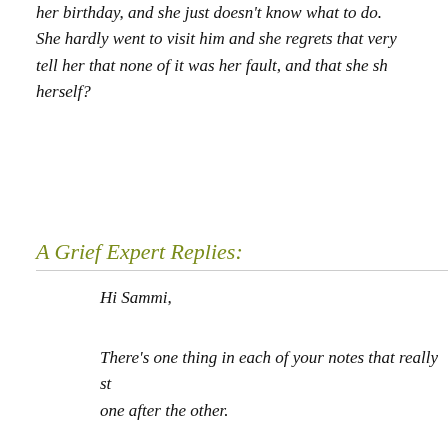her birthday, and she just doesn't know what to do. She hardly went to visit him and she regrets that very much. How do I tell her that none of it was her fault, and that she shouldn't blame herself?
A Grief Expert Replies:
Hi Sammi,
There's one thing in each of your notes that really stands out, one after the other.
About yourself you asked: "How do I get over the gu...
And about your sister you asked: "How do I tell her... fault and that she shouldn't blame herself?"
Both questions are about guilt. But maybe guilt is no...